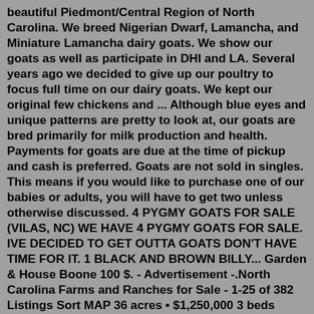beautiful Piedmont/Central Region of North Carolina. We breed Nigerian Dwarf, Lamancha, and Miniature Lamancha dairy goats. We show our goats as well as participate in DHI and LA. Several years ago we decided to give up our poultry to focus full time on our dairy goats. We kept our original few chickens and ... Although blue eyes and unique patterns are pretty to look at, our goats are bred primarily for milk production and health. Payments for goats are due at the time of pickup and cash is preferred. Goats are not sold in singles. This means if you would like to purchase one of our babies or adults, you will have to get two unless otherwise discussed. 4 PYGMY GOATS FOR SALE (VILAS, NC) WE HAVE 4 PYGMY GOATS FOR SALE. IVE DECIDED TO GET OUTTA GOATS DON'T HAVE TIME FOR IT. 1 BLACK AND BROWN BILLY... Garden & House Boone 100 $. - Advertisement -.North Carolina Farms and Ranches for Sale - 1-25 of 382 Listings Sort MAP 36 acres • $1,250,000 3 beds • 3 baths • 1,699 sq ft 4330 Collins Rock, Lenoir, NC